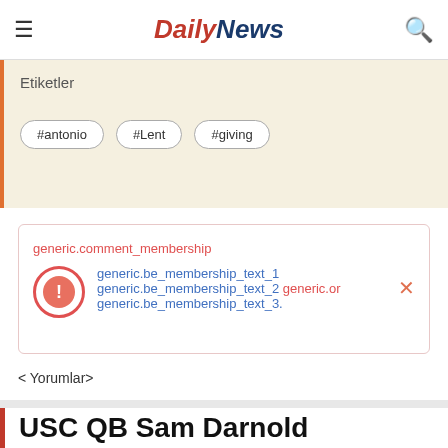Daily News — navigation bar with hamburger menu, logo, and search icon
Etiketler
#antonio
#Lent
#giving
generic.comment_membership generic.be_membership_text_1 generic.be_membership_text_2 generic.or generic.be_membership_text_3.
< Yorumlar>
USC QB Sam Darnold